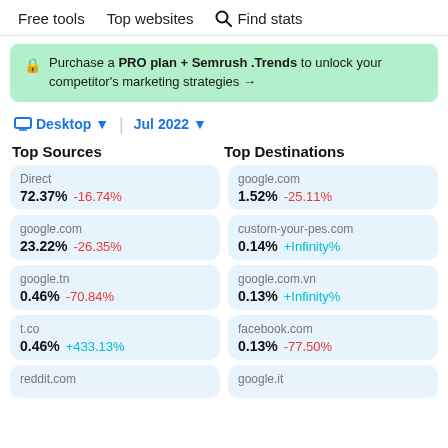Free tools   Top websites   Find stats
Purchase a PRO plan + Semrush .Trends to unlock your competitor's marketing strategies →
Desktop ▾  |  Jul 2022 ▾
Top Sources
Top Destinations
Direct
72.37% -16.74%
google.com
1.52% -25.11%
google.com
23.22% -26.35%
custom-your-pes.com
0.14% +Infinity%
google.tn
0.46% -70.84%
google.com.vn
0.13% +Infinity%
t.co
0.46% +433.13%
facebook.com
0.13% -77.50%
reddit.com
google.it